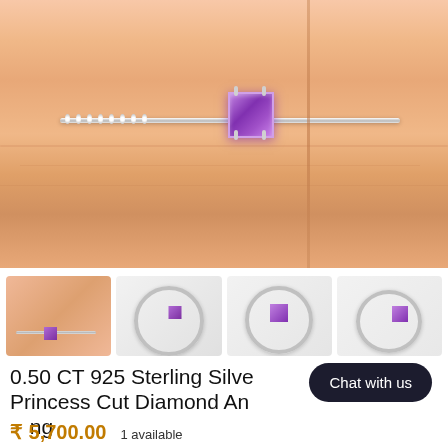[Figure (photo): Close-up photo of a hand wearing a sterling silver ring with a small purple princess-cut gemstone set on a delicate band with tiny accent stones]
[Figure (photo): Four thumbnail images of the same ring: first showing it on a finger, second showing the ring from top view, third showing front view of band with gem, fourth showing side angle of the ring]
0.50 CT 925 Sterling Silver Princess Cut Diamond Anniversary Ring
₹ 5,700.00   1 available